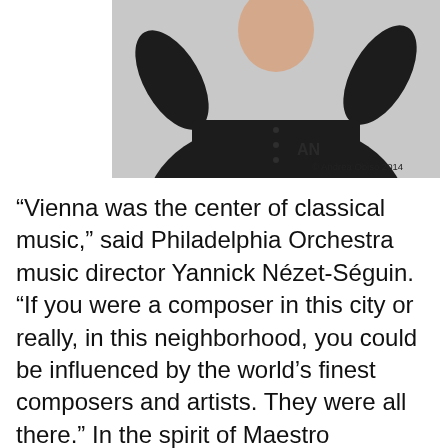[Figure (photo): Photo of a man in a dark shirt with arms raised, credited to Andrea Obiso 2014]
© Andrea Obiso 2014
“Vienna was the center of classical music,” said Philadelphia Orchestra music director Yannick Nézet-Séguin. “If you were a composer in this city or really, in this neighborhood, you could be influenced by the world’s finest composers and artists. They were all there.” In the spirit of Maestro Yannick’s memorable words, we will be featuring a performance of Vienna-influenced composers Mozart and Richard Strauss by Italian violin prodigy and Curtis